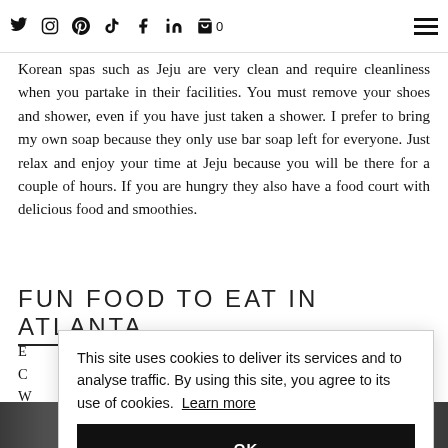Social media icons (Twitter, Instagram, Pinterest, TikTok, Facebook, LinkedIn, Cart 0) and hamburger menu
Korean spas such as Jeju are very clean and require cleanliness when you partake in their facilities. You must remove your shoes and shower, even if you have just taken a shower. I prefer to bring my own soap because they only use bar soap left for everyone. Just relax and enjoy your time at Jeju because you will be there for a couple of hours. If you are hungry they also have a food court with delicious food and smoothies.
FUN FOOD TO EAT IN ATLANTA
[Partial text obscured by cookie banner: ...of the ...et list. ...end is ...ood at ...pired. ...it was ...f]
This site uses cookies to deliver its services and to analyse traffic. By using this site, you agree to its use of cookies. Learn more
OK
[Figure (photo): Bottom strip showing partial outdoor/nature photo]